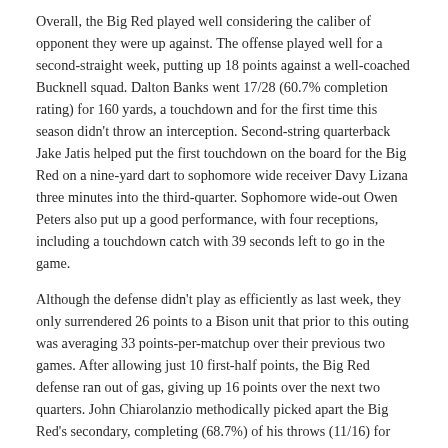Overall, the Big Red played well considering the caliber of opponent they were up against. The offense played well for a second-straight week, putting up 18 points against a well-coached Bucknell squad. Dalton Banks went 17/28 (60.7% completion rating) for 160 yards, a touchdown and for the first time this season didn't throw an interception. Second-string quarterback Jake Jatis helped put the first touchdown on the board for the Big Red on a nine-yard dart to sophomore wide receiver Davy Lizana three minutes into the third-quarter. Sophomore wide-out Owen Peters also put up a good performance, with four receptions, including a touchdown catch with 39 seconds left to go in the game.
Although the defense didn't play as efficiently as last week, they only surrendered 26 points to a Bison unit that prior to this outing was averaging 33 points-per-matchup over their previous two games. After allowing just 10 first-half points, the Big Red defense ran out of gas, giving up 16 points over the next two quarters. John Chiarolanzio methodically picked apart the Big Red's secondary, completing (68.7%) of his throws (11/16) for 176 yards and two touchdowns, while senior tailback Joey Defloria dashed for 99 yards on 20 carries averaging five yards per-attempt.
While this season hasn't been one of the…Coach David A…